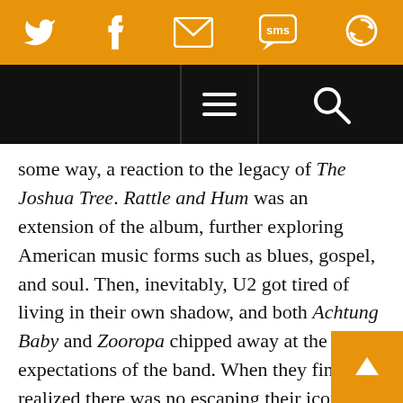[Figure (screenshot): Orange social media share bar with Twitter, Facebook, email, SMS, and refresh/share icons in white]
[Figure (screenshot): Black navigation bar with hamburger menu icon in center and search (magnifying glass) icon on right]
some way, a reaction to the legacy of The Joshua Tree. Rattle and Hum was an extension of the album, further exploring American music forms such as blues, gospel, and soul. Then, inevitably, U2 got tired of living in their own shadow, and both Achtung Baby and Zooropa chipped away at the expectations of the band. When they finally realized there was no escaping their iconic status sealed by The Joshua Tree, U2 mocked it on Pop. By then, though, fans had grown weary of the band's experimentation, and U2 have spent their last two